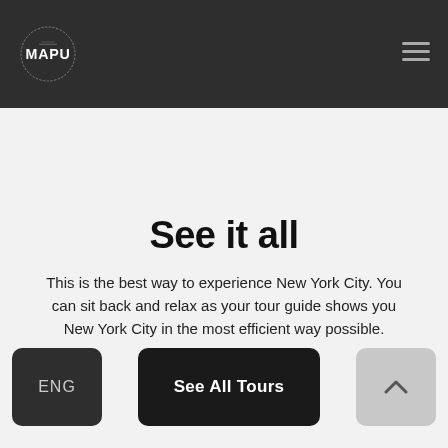MAPU logo and navigation header
See it all
This is the best way to experience New York City. You can sit back and relax as your tour guide shows you New York City in the most efficient way possible.
See All Tours
ENG